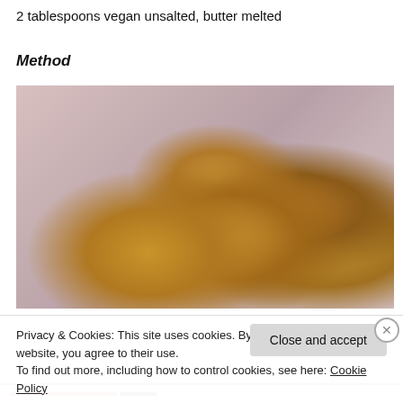2 tablespoons vegan unsalted, butter melted
Method
[Figure (photo): Baked bread rolls or muffins in a pink/lavender cloth-lined basket, viewed from above. Several golden-brown round rolls are visible nestled in the soft fabric.]
Privacy & Cookies: This site uses cookies. By continuing to use this website, you agree to their use.
To find out more, including how to control cookies, see here: Cookie Policy
Close and accept